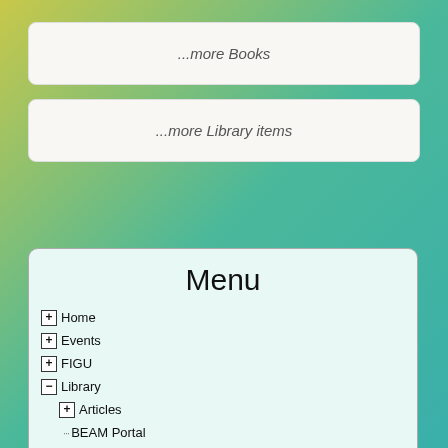...more Books
...more Library items
Menu
Home
Events
FIGU
Library
Articles
BEAM Portal
FIGU Booklets
FIGU Books
12012 immemorial first names
61 Years of Poems
A Little Bit of Knowledge, Sense and Essence of Wisdom